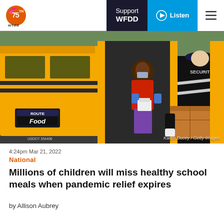WFDD 75th | Support WFDD | Listen
[Figure (photo): A woman in a red jacket and purple pants wearing a mask and gloves hands food packages from a school bus labeled 'ROUTE Food'. A man in a black Security jacket receives a large cardboard box. The school bus is yellow. Photo credit: Karen Ducey / Getty Images.]
Karen Ducey / Getty Images
4:24pm Mar 21, 2022
National
Millions of children will miss healthy school meals when pandemic relief expires
by Allison Aubrey